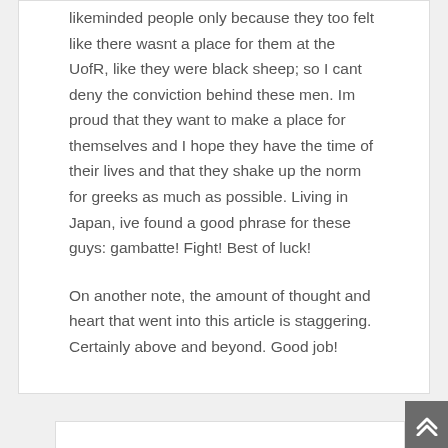likeminded people only because they too felt like there wasnt a place for them at the UofR, like they were black sheep; so I cant deny the conviction behind these men. Im proud that they want to make a place for themselves and I hope they have the time of their lives and that they shake up the norm for greeks as much as possible. Living in Japan, ive found a good phrase for these guys: gambatte! Fight! Best of luck!
On another note, the amount of thought and heart that went into this article is staggering. Certainly above and beyond. Good job!